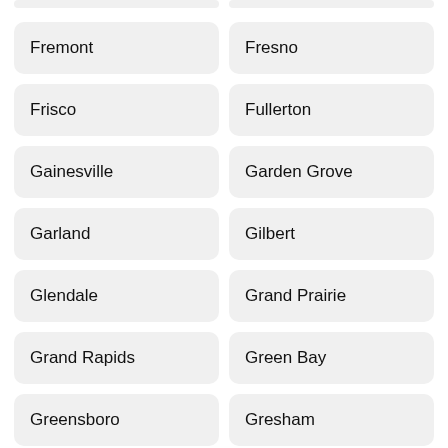Fremont
Fresno
Frisco
Fullerton
Gainesville
Garden Grove
Garland
Gilbert
Glendale
Grand Prairie
Grand Rapids
Green Bay
Greensboro
Gresham
Hampton
Hartford
Hayward
Henderson
Hialeah
Hillsborough